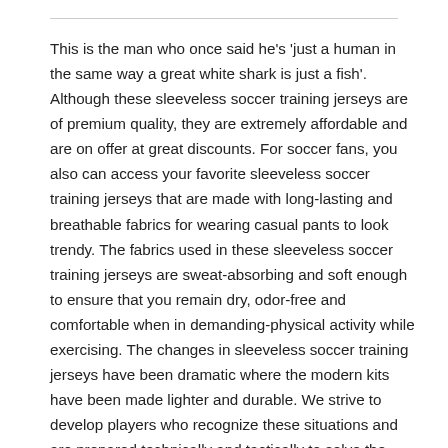This is the man who once said he's 'just a human in the same way a great white shark is just a fish'. Although these sleeveless soccer training jerseys are of premium quality, they are extremely affordable and are on offer at great discounts. For soccer fans, you also can access your favorite sleeveless soccer training jerseys that are made with long-lasting and breathable fabrics for wearing casual pants to look trendy. The fabrics used in these sleeveless soccer training jerseys are sweat-absorbing and soft enough to ensure that you remain dry, odor-free and comfortable when in demanding-physical activity while exercising. The changes in sleeveless soccer training jerseys have been dramatic where the modern kits have been made lighter and durable. We strive to develop players who recognize these situations and are prepared technically and tactically to solve the problems the game presents using soccer skills and a collective tactical understanding of the game. That's what Skills Institute is all about.